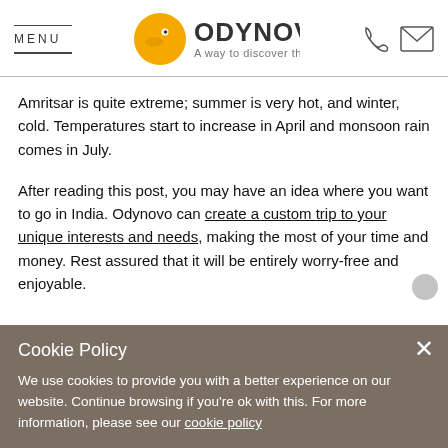MENU | ODYNOVO A way to discover the world
Amritsar is quite extreme; summer is very hot, and winter, cold. Temperatures start to increase in April and monsoon rain comes in July.
After reading this post, you may have an idea where you want to go in India. Odynovo can create a custom trip to your unique interests and needs, making the most of your time and money. Rest assured that it will be entirely worry-free and enjoyable.
Cookie Policy
We use cookies to provide you with a better experience on our website. Continue browsing if you're ok with this. For more information, please see our cookie policy